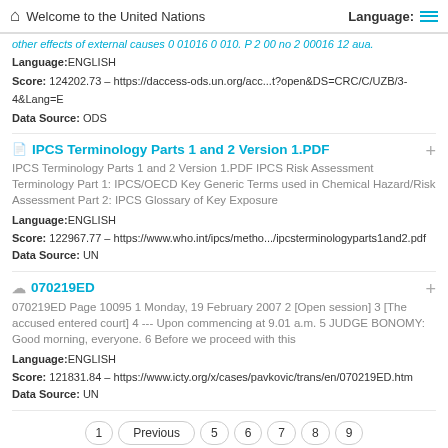Welcome to the United Nations | Language:
other effects of external causes 0 01016 0 010. P 2 00 no 2 00016 12 aua.
Language:ENGLISH
Score: 124202.73 - https://daccess-ods.un.org/acc...t?open&DS=CRC/C/UZB/3-4&Lang=E
Data Source: ODS
IPCS Terminology Parts 1 and 2 Version 1.PDF
IPCS Terminology Parts 1 and 2 Version 1.PDF IPCS Risk Assessment Terminology Part 1: IPCS/OECD Key Generic Terms used in Chemical Hazard/Risk Assessment Part 2: IPCS Glossary of Key Exposure
Language:ENGLISH
Score: 122967.77 - https://www.who.int/ipcs/metho.../ipcsterminologyparts1and2.pdf
Data Source: UN
070219ED
070219ED Page 10095 1 Monday, 19 February 2007 2 [Open session] 3 [The accused entered court] 4 --- Upon commencing at 9.01 a.m. 5 JUDGE BONOMY: Good morning, everyone. 6 Before we proceed with this
Language:ENGLISH
Score: 121831.84 - https://www.icty.org/x/cases/pavkovic/trans/en/070219ED.htm
Data Source: UN
1  Previous  5  6  7  8  9